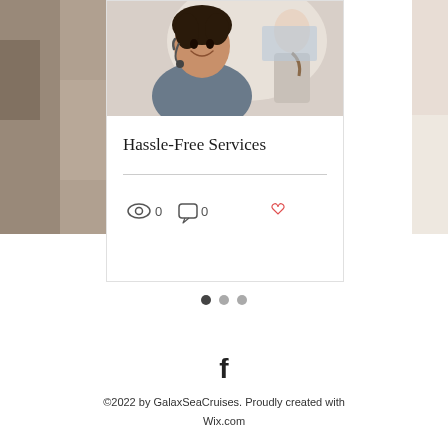[Figure (photo): Customer service representative smiling with headset in an office environment, another person visible in background]
Hassle-Free Services
[Figure (infographic): Card action bar with eye icon (views: 0), speech bubble icon (comments: 0), and heart icon (likes)]
[Figure (infographic): Carousel dots indicator: three dots, first dot active (darker)]
[Figure (logo): Facebook social media icon (f logo) in black]
©2022 by GalaxSeaCruises. Proudly created with Wix.com